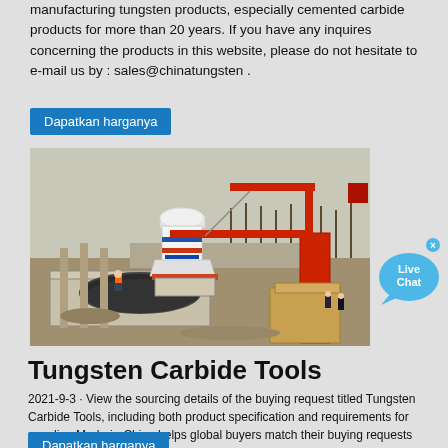manufacturing tungsten products, especially cemented carbide products for more than 20 years. If you have any inquires concerning the products in this website, please do not hesitate to e-mail us by : sales@chinatungsten .
Dapatkan harganya
[Figure (photo): Construction site with a large industrial cone crusher machine being installed, with a red crane on the right side and workers on an elevated platform. Bare trees visible in background.]
Live Chat
Tungsten Carbide Tools
2021-9-3 · View the sourcing details of the buying request titled Tungsten Carbide Tools, including both product specification and requirements for supplier. Made-in-China helps global buyers match their buying requests with the right supplier efficiently.
Dapatkan harganya